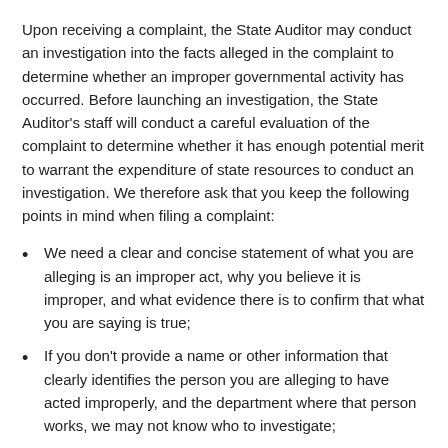Upon receiving a complaint, the State Auditor may conduct an investigation into the facts alleged in the complaint to determine whether an improper governmental activity has occurred. Before launching an investigation, the State Auditor's staff will conduct a careful evaluation of the complaint to determine whether it has enough potential merit to warrant the expenditure of state resources to conduct an investigation. We therefore ask that you keep the following points in mind when filing a complaint:
We need a clear and concise statement of what you are alleging is an improper act, why you believe it is improper, and what evidence there is to confirm that what you are saying is true;
If you don't provide a name or other information that clearly identifies the person you are alleging to have acted improperly, and the department where that person works, we may not know who to investigate;
If you do not identify witnesses or documents that will support what you are saying, we may not be able to verify that what you are saying is true;
While you may submit a complaint anonymously, we may not be able to determine whether your complaint has merit if we